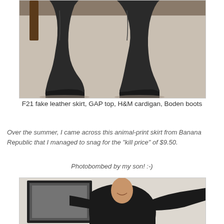[Figure (photo): Photo of black leather knee-high boots on a beige/cream carpet, with a wooden chair leg visible]
F21 fake leather skirt, GAP top, H&M cardigan, Boden boots
Over the summer, I came across this animal-print skirt from Banana Republic that I managed to snag for the "kill price" of $9.50.
Photobombed by my son! :-)
[Figure (photo): Photo of a smiling woman in a black top, posing with arms outstretched, with a framed picture on the wall behind her]